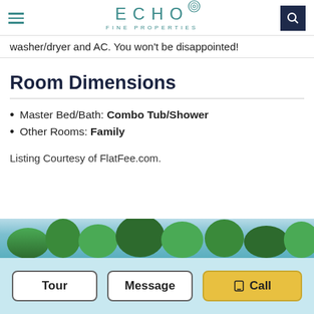ECHO FINE PROPERTIES
washer/dryer and AC. You won't be disappointed!
Room Dimensions
Master Bed/Bath: Combo Tub/Shower
Other Rooms: Family
Listing Courtesy of FlatFee.com.
[Figure (photo): Outdoor photo strip showing tropical trees and sky]
Tour | Message | Call